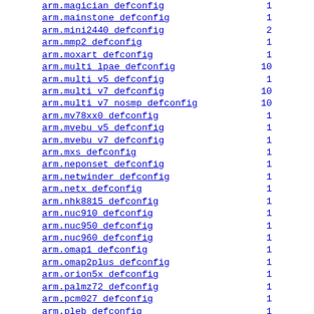| Name | Count |
| --- | --- |
| arm.magician_defconfig | 1 |
| arm.mainstone_defconfig | 1 |
| arm.mini2440_defconfig | 2 |
| arm.mmp2_defconfig | 1 |
| arm.moxart_defconfig | 1 |
| arm.multi_lpae_defconfig | 10 |
| arm.multi_v5_defconfig | 1 |
| arm.multi_v7_defconfig | 10 |
| arm.multi_v7_nosmp_defconfig | 10 |
| arm.mv78xx0_defconfig | 1 |
| arm.mvebu_v5_defconfig | 1 |
| arm.mvebu_v7_defconfig | 1 |
| arm.mxs_defconfig | 1 |
| arm.neponset_defconfig | 1 |
| arm.netwinder_defconfig | 1 |
| arm.netx_defconfig | 1 |
| arm.nhk8815_defconfig | 1 |
| arm.nuc910_defconfig | 1 |
| arm.nuc950_defconfig | 1 |
| arm.nuc960_defconfig | 1 |
| arm.omap1_defconfig | 1 |
| arm.omap2plus_defconfig | 1 |
| arm.orion5x_defconfig | 1 |
| arm.palmz72_defconfig | 1 |
| arm.pcm027_defconfig | 1 |
| arm.pleb_defconfig | 1 |
| arm.prima2_defconfig | 1 |
| arm.pxa168_defconfig | 1 |
| arm.pxa255-idp_defconfig | 1 |
| arm.pxa3xx_defconfig | 1 |